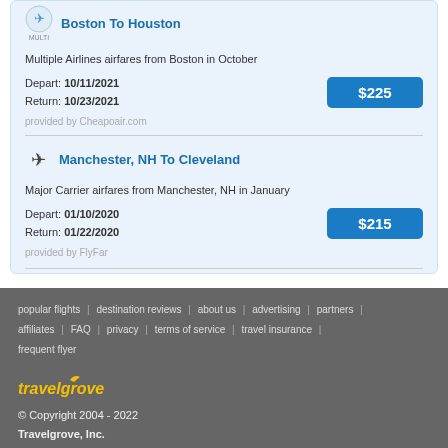Boston To Houston
Multiple Airlines airfares from Boston in October
Depart: 10/11/2021
Return: 10/23/2021
$225
provided by Cheapoair.com
Manchester, NH To Cleveland
Major Carrier airfares from Manchester, NH in January
Depart: 01/10/2020
Return: 01/22/2020
$215
provided by FlyFar
popular flights | destination reviews | about us | advertising | partners | affiliates | FAQ | privacy | terms of service | travel insurance | frequent flyer
travelgrove
© Copyright 2004 - 2022
Travelgrove, Inc.
All rights reserved